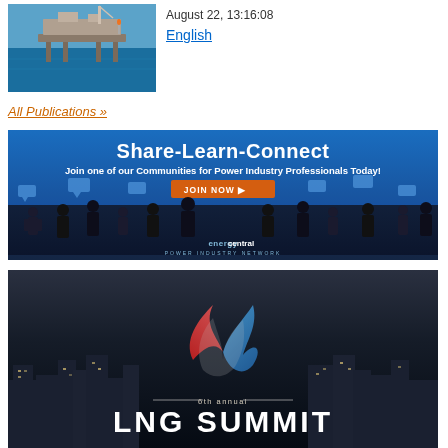[Figure (photo): Offshore oil platform on blue sea, aerial view]
August 22, 13:16:08
English
All Publications »
[Figure (infographic): EnergyCentral Power Industry Network banner: Share-Learn-Connect. Join one of our Communities for Power Industry Professionals Today! JOIN NOW button. Silhouettes of people with speech bubbles.]
[Figure (infographic): 6th annual LNG Summit banner with city skyline at night and flame logo]